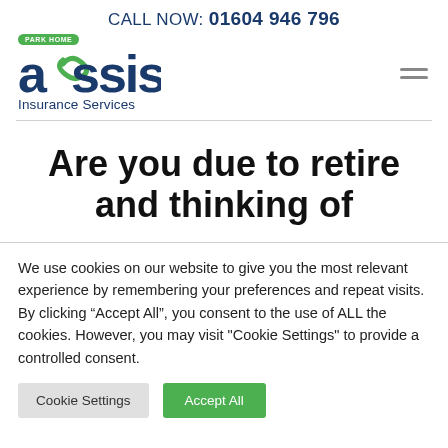CALL NOW: 01604 946 796
[Figure (logo): Park Home Assist Insurance Services logo with green badge reading PARK HOME, blue stylized 'assist' text with green arrow, and subtitle 'Insurance Services']
Are you due to retire and thinking of
We use cookies on our website to give you the most relevant experience by remembering your preferences and repeat visits. By clicking "Accept All", you consent to the use of ALL the cookies. However, you may visit "Cookie Settings" to provide a controlled consent.